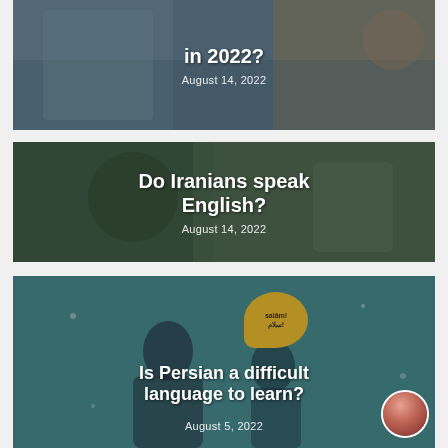[Figure (photo): Card with photo background showing people, with overlaid title text 'in 2022?' and date 'August 14, 2022']
[Figure (photo): Card with photo background of an Iranian woman with sunglasses, with overlaid title 'Do Iranians speak English?' and date 'August 14, 2022']
[Figure (infographic): Card with teal background, illustration of two people and a yellow speech bubble saying 'salām! سلام!', title 'Is Persian a difficult language to learn?' and date 'August 5, 2022', with small circular avatar in bottom right]